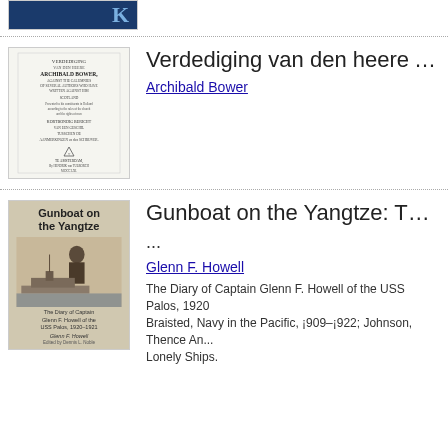[Figure (illustration): Top of page showing partial book cover with dark blue background and letter K visible]
[Figure (illustration): Title page of 'Verdediging van den heere Archibald Bower' - old Dutch text document with ornate typesetting, published in Amsterdam]
Verdediging van den heere Archib...
Archibald Bower
[Figure (photo): Book cover of 'Gunboat on the Yangtze: The Diary of Captain Glenn F. Howell of the USS Palos, 1920-1921' by Glenn F. Howell, edited by Dennis L. Noble. Shows a naval officer and a gunboat on a river.]
Gunboat on the Yangtze: The Dia...
...
Glenn F. Howell
The Diary of Captain Glenn F. Howell of the USS Palos, 1920... Braisted, Navy in the Pacific, ¡909–¡922; Johnson, Thence An... Lonely Ships.